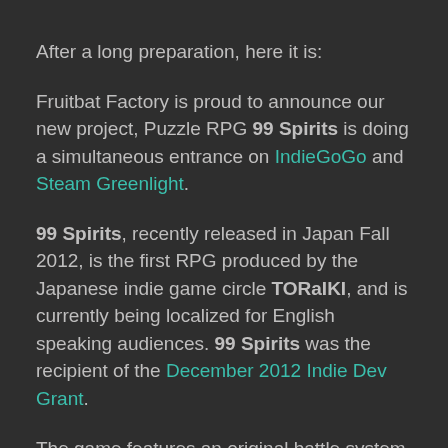After a long preparation, here it is:
Fruitbat Factory is proud to announce our new project, Puzzle RPG 99 Spirits is doing a simultaneous entrance on IndieGoGo and Steam Greenlight.
99 Spirits, recently released in Japan Fall 2012, is the first RPG produced by the Japanese indie game circle TORaIKI, and is currently being localized for English speaking audiences. 99 Spirits was the recipient of the December 2012 Indie Dev Grant.
The game features an original battle system where players will have to puzzle out the true identify of the enemy before defeating them. 99 Spirits revolves around the ancient Japanese legend of Tsukumogami...